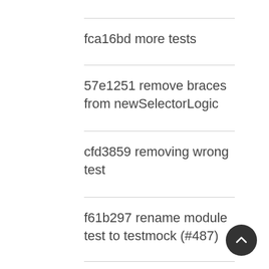fca16bd more tests
57e1251 remove braces from newSelectorLogic
cfd3859 removing wrong test
f61b297 rename module test to testmock (#487)